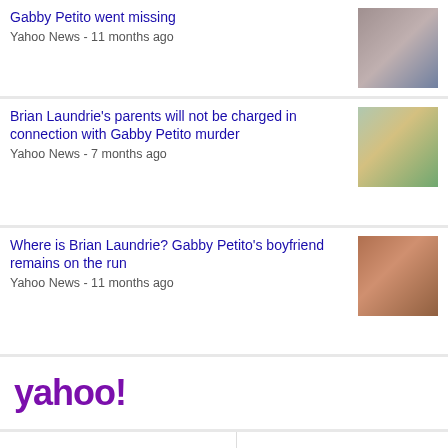Gabby Petito went missing
Yahoo News - 11 months ago
Brian Laundrie's parents will not be charged in connection with Gabby Petito murder
Yahoo News - 7 months ago
Where is Brian Laundrie? Gabby Petito's boyfriend remains on the run
Yahoo News - 11 months ago
[Figure (logo): Yahoo! logo in purple]
Location unknown Update | Sign In
Settings  Feedback  Help  Privacy (Updated)
Terms (Updated)  Privacy Dashboard  About ads